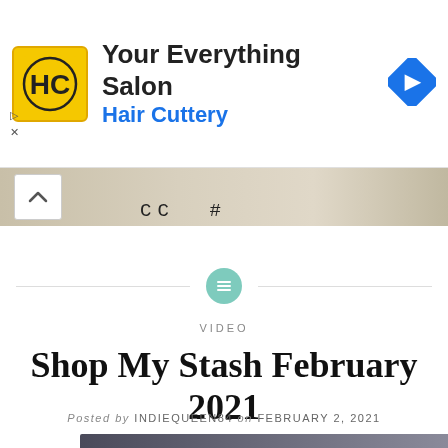[Figure (other): Hair Cuttery advertisement banner with HC logo, text 'Your Everything Salon / Hair Cuttery', and a blue diamond navigation icon on the right]
[Figure (photo): Partial photo strip showing cosmetic/beauty products with text labels visible]
[Figure (other): Teal circular divider icon with horizontal lines symbol, flanked by horizontal rules]
VIDEO
Shop My Stash February 2021
Posted by INDIEQUEEN84 on FEBRUARY 2, 2021
[Figure (photo): Bottom edge of a photo, dark tones, partially visible]